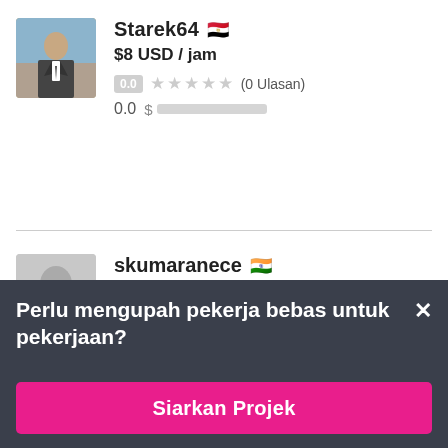[Figure (photo): Profile photo of user Starek64 showing a man in a suit]
Starek64 🇪🇬 $8 USD / jam 0.0 ★★★★★ (0 Ulasan) 0.0 $
[Figure (photo): Default placeholder avatar silhouette for user skumaranece]
skumaranece 🇮🇳 $12 USD / jam
Perlu mengupah pekerja bebas untuk pekerjaan?
Siarkan Projek